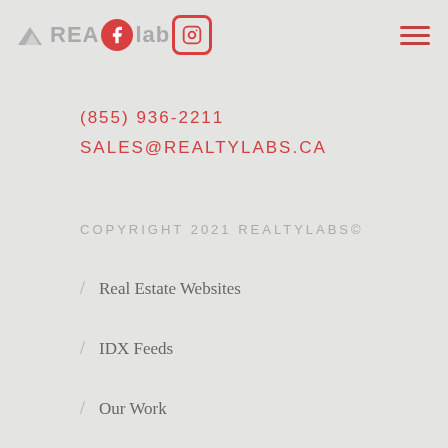REALTY labs [social icons: Facebook, Instagram] [hamburger menu]
(855) 936-2211
SALES@REALTYLABS.CA
COPYRIGHT 2021 REALTYLABS©
/ Real Estate Websites
/ IDX Feeds
/ Our Work
/ Our Story
/ Blog